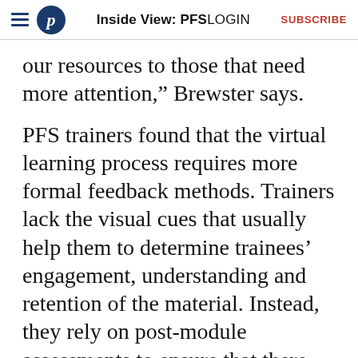Inside View: PFS  LOGIN  SUBSCRIBE
our resources to those that need more attention,” Brewster says.
PFS trainers found that the virtual learning process requires more formal feedback methods. Trainers lack the visual cues that usually help them to determine trainees’ engagement, understanding and retention of the material. Instead, they rely on post-module assessments to ensure that there are no knowledge gaps.
Similarly, PFS incorporated various